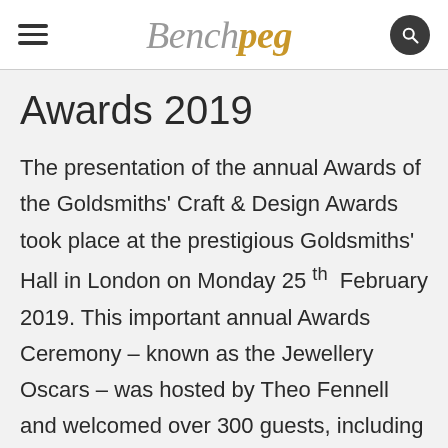Benchpeg
Awards 2019
The presentation of the annual Awards of the Goldsmiths' Craft & Design Awards took place at the prestigious Goldsmiths' Hall in London on Monday 25 th February 2019. This important annual Awards Ceremony – known as the Jewellery Oscars – was hosted by Theo Fennell and welcomed over 300 guests, including world-renowned jewellery houses, notable sponsors, industry associations, leading designers and the UK jewellery press. This unique annual